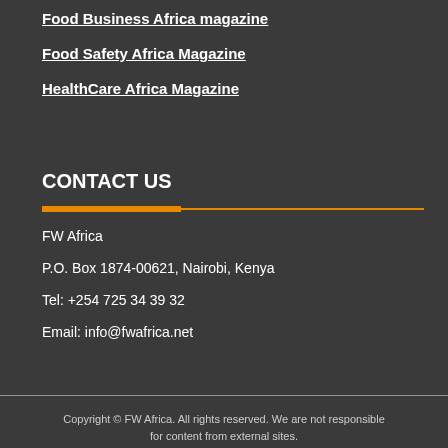Food Business Africa magazine
Food Safety Africa Magazine
HealthCare Africa Magazine
CONTACT US
FW Africa
P.O. Box 1874-00621, Nairobi, Kenya
Tel: +254 725 34 39 32
Email: info@fwafrica.net
Copyright © FW Africa. All rights reserved. We are not responsible for content from external sites.